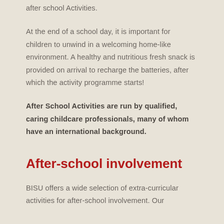after school Activities.
At the end of a school day, it is important for children to unwind in a welcoming home-like environment. A healthy and nutritious fresh snack is provided on arrival to recharge the batteries, after which the activity programme starts!
After School Activities are run by qualified, caring childcare professionals, many of whom have an international background.
After-school involvement
BISU offers a wide selection of extra-curricular activities for after-school involvement. Our